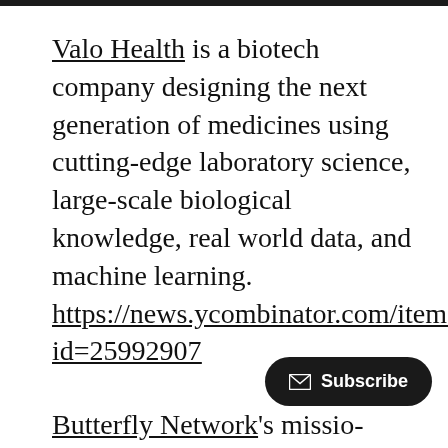Valo Health is a biotech company designing the next generation of medicines using cutting-edge laboratory science, large-scale biological knowledge, real world data, and machine learning. https://news.ycombinator.com/item?id=25992907
Butterfly Network's mission is to democratize healthcare by enabling